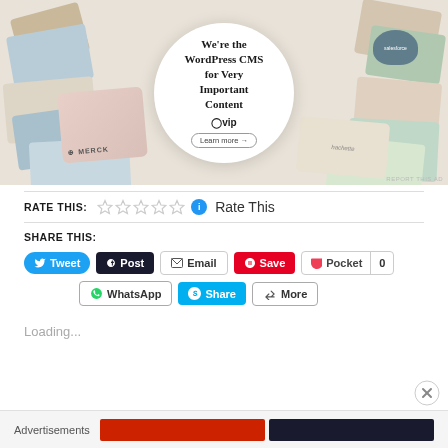[Figure (screenshot): WordPress VIP advertisement banner showing colorful cards/tiles in background with a white circle overlay containing text 'We're the WordPress CMS for Very Important Content' with WordPress VIP logo and 'Learn more' button. 'REPORT THIS AD' text in bottom right.]
RATE THIS:
Rate This
SHARE THIS:
Tweet
Post
Email
Save
Pocket 0
WhatsApp
Share
More
Loading...
Advertisements